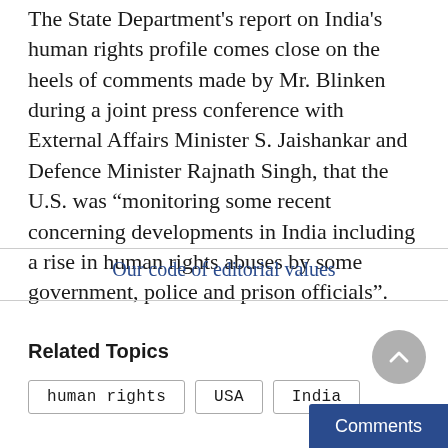The State Department's report on India's human rights profile comes close on the heels of comments made by Mr. Blinken during a joint press conference with External Affairs Minister S. Jaishankar and Defence Minister Rajnath Singh, that the U.S. was “monitoring some recent concerning developments in India including a rise in human rights abuses by some government, police and prison officials”.
Our code of editorial values
Related Topics
human rights
USA
India
Comments